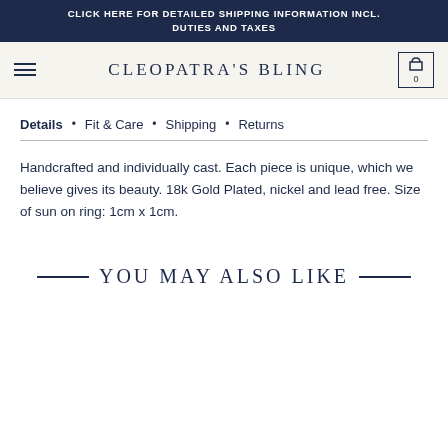CLICK HERE FOR DETAILED SHIPPING INFORMATION INCL. DUTIES AND TAXES
CLEOPATRA'S BLING
Details • Fit & Care • Shipping • Returns
Handcrafted and individually cast. Each piece is unique, which we believe gives its beauty. 18k Gold Plated, nickel and lead free. Size of sun on ring: 1cm x 1cm.
YOU MAY ALSO LIKE